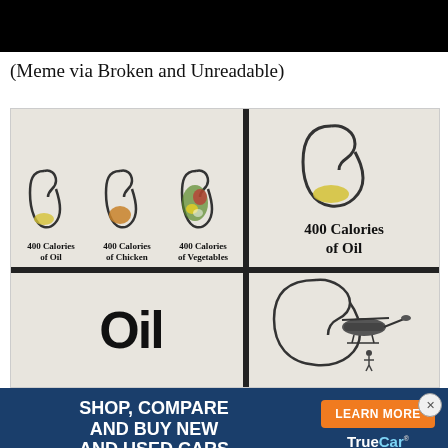[Figure (other): Black banner bar at top of page]
(Meme via Broken and Unreadable)
[Figure (illustration): Meme illustration showing stomach diagrams comparing 400 Calories of Oil, 400 Calories of Chicken, 400 Calories of Vegetables (top-left panel with 3 small stomachs), 400 Calories of Oil (top-right panel with large stomach), bottom-left with large 'Oil' text, bottom-right with stomach and helicopter illustration. Divided by a dark cross.]
[Figure (other): Advertisement banner: 'SHOP, COMPARE AND BUY NEW AND USED CARS' with LEARN MORE button and TrueCar by Navy Federal logo]